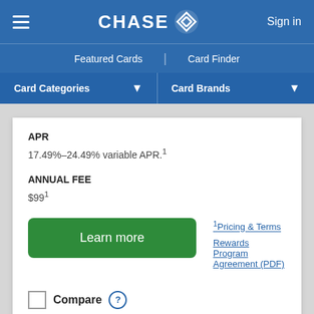CHASE — Sign in
Featured Cards | Card Finder
Card Categories ▾  Card Brands ▾
APR
17.49%–24.49% variable APR.¹
ANNUAL FEE
$99¹
Learn more
¹Pricing & Terms
Rewards Program Agreement (PDF)
Compare ?